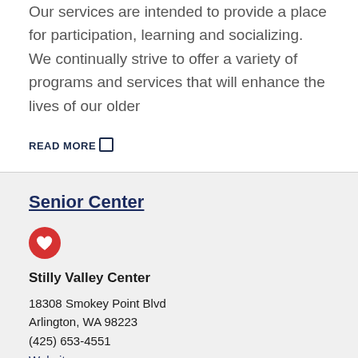Our services are intended to provide a place for participation, learning and socializing. We continually strive to offer a variety of programs and services that will enhance the lives of our older
READ MORE →
Senior Center
[Figure (illustration): Red circular icon with a white heart symbol]
Stilly Valley Center
18308 Smokey Point Blvd
Arlington, WA 98223
(425) 653-4551
Website
Description